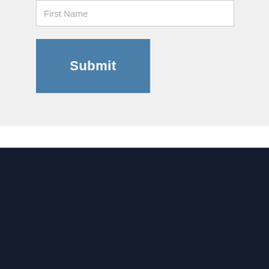[Figure (screenshot): Form input field with placeholder text 'First Name' on grey background]
[Figure (screenshot): Blue Submit button on grey background]
[Figure (logo): Global Wealth Protection logo with green and blue shield and lion, text reads GLOBAL WEALTH PROTECTION]
info@globalwealthprotection.
LATEST TWEETS
[Figure (screenshot): Tweet card showing B... account, 6h ago, text: Evidently there are two kinds of people #Economists and #Historians]